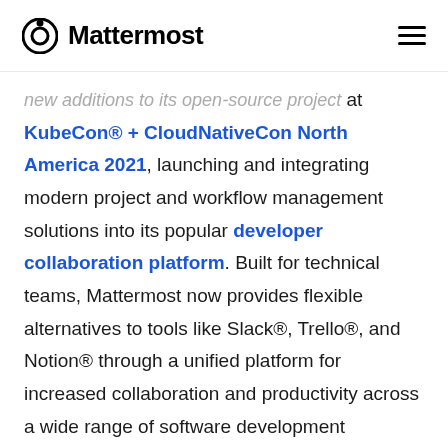Mattermost
new additions to its open-source project at KubeCon® + CloudNativeCon North America 2021, launching and integrating modern project and workflow management solutions into its popular developer collaboration platform. Built for technical teams, Mattermost now provides flexible alternatives to tools like Slack®, Trello®, and Notion® through a unified platform for increased collaboration and productivity across a wide range of software development processes — from sprint planning and